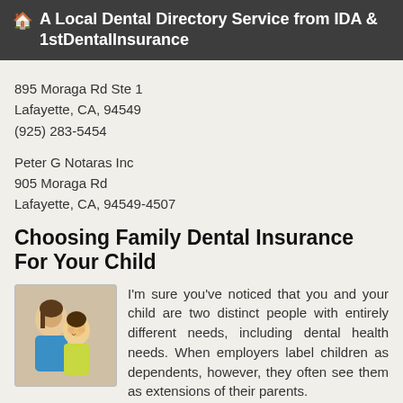🏠 A Local Dental Directory Service from IDA & 1stDentalInsurance
895 Moraga Rd Ste 1
Lafayette, CA, 94549
(925) 283-5454
Peter G Notaras Inc
905 Moraga Rd
Lafayette, CA, 94549-4507
Choosing Family Dental Insurance For Your Child
[Figure (photo): Photo of a woman and a young girl smiling together]
I'm sure you've noticed that you and your child are two distinct people with entirely different needs, including dental health needs. When employers label children as dependents, however, they often see them as extensions of their parents. That means... read more
Use 'Em or Lose 'Em: Take Advantage of Dental Coverage